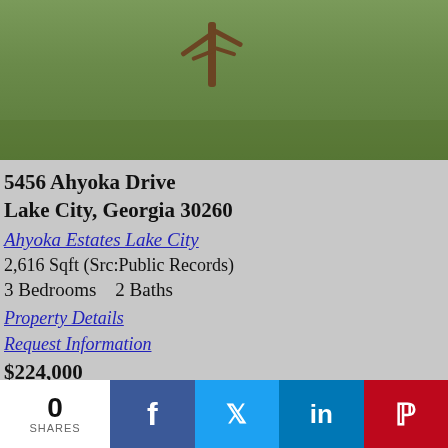[Figure (photo): Outdoor photo showing a green lawn with a bare tree in the middle ground, grass yard visible]
5456 Ahyoka Drive
Lake City, Georgia 30260
Ahyoka Estates Lake City
2,616 Sqft (Src:Public Records)
3 Bedrooms   2 Baths
Property Details
Request Information
$224,000